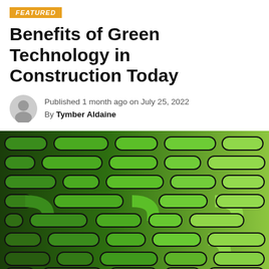FEATURED
Benefits of Green Technology in Construction Today
Published 1 month ago on July 25, 2022
By Tymber Aldaine
[Figure (illustration): Abstract green technology circuit/maze pattern with rounded rectangular shapes on dark background, gradient from dark green on left to light yellow-green on right]